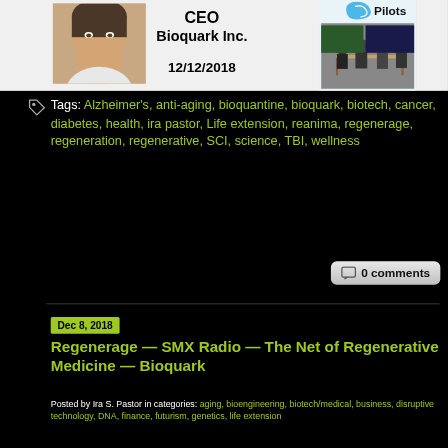[Figure (photo): Banner with headshot photo of a man, text CEO / Bioquark Inc. / 12/12/2018 in center, and a group photo on the right]
Tags: Alzheimer's, anti-aging, bioquantine, bioquark, biotech, cancer, diabetes, health, ira pastor, Life extension, reanima, regenerage, regeneration, regenerative, SCI, science, TBI, wellness
0 comments
Dec 8, 2018
Regenerage — SMX Radio — The Net of Regenerative Medicine — Bioquark
Posted by Ira S. Pastor in categories: aging, bioengineering, biotech/medical, business, disruptive technology, DNA, finance, futurism, genetics, life extension